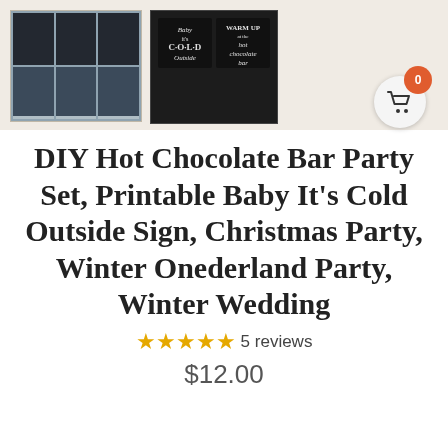[Figure (photo): Two product images: left shows a grid of 6 chalkboard-style label cards with blue accents, right shows chalkboard signs reading 'Baby it's Cold Outside' and 'Warm Up at the Hot Chocolate Bar']
DIY Hot Chocolate Bar Party Set, Printable Baby It's Cold Outside Sign, Christmas Party, Winter Onederland Party, Winter Wedding
★★★★★ 5 reviews
$12.00